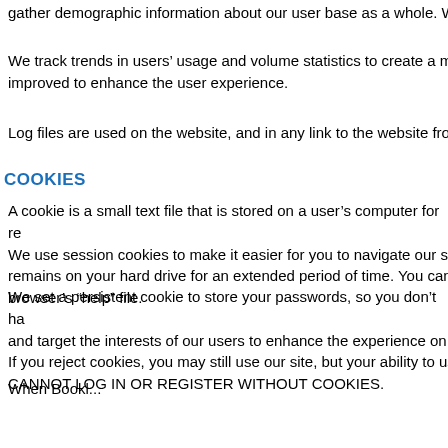gather demographic information about our user base as a whole. W
We track trends in users' usage and volume statistics to create a m improved to enhance the user experience.
Log files are used on the website, and in any link to the website fro
COOKIES
A cookie is a small text file that is stored on a user's computer for re We use session cookies to make it easier for you to navigate our sit remains on your hard drive for an extended period of time. You can browser's “help” file.
We set a persistent cookie to store your passwords, so you don’t ha and target the interests of our users to enhance the experience on  If you reject cookies, you may still use our site, but your ability to us CANNOT LOG IN OR REGISTER WITHOUT COOKIES.
When Bookl...